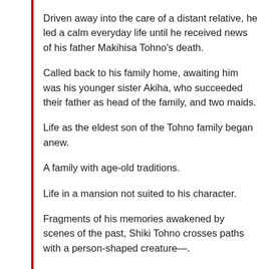Driven away into the care of a distant relative, he led a calm everyday life until he received news of his father Makihisa Tohno's death.
Called back to his family home, awaiting him was his younger sister Akiha, who succeeded their father as head of the family, and two maids.
Life as the eldest son of the Tohno family began anew.
A family with age-old traditions.
Life in a mansion not suited to his character.
Fragments of his memories awakened by scenes of the past, Shiki Tohno crosses paths with a person-shaped creature—.
Tsukihime, the romance visual novel created as a doujin